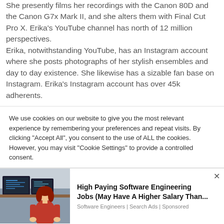She presently films her recordings with the Canon 80D and the Canon G7x Mark II, and she alters them with Final Cut Pro X. Erika's YouTube channel has north of 12 million perspectives.
Erika, notwithstanding YouTube, has an Instagram account where she posts photographs of her stylish ensembles and day to day existence. She likewise has a sizable fan base on Instagram. Erika's Instagram account has over 45k adherents.
We use cookies on our website to give you the most relevant experience by remembering your preferences and repeat visits. By clicking "Accept All", you consent to the use of ALL the cookies. However, you may visit "Cookie Settings" to provide a controlled consent.
[Figure (photo): Woman with red hair sitting at a desk with computer monitors in an office environment]
High Paying Software Engineering Jobs (May Have A Higher Salary Than...
Software Engineers | Search Ads | Sponsored